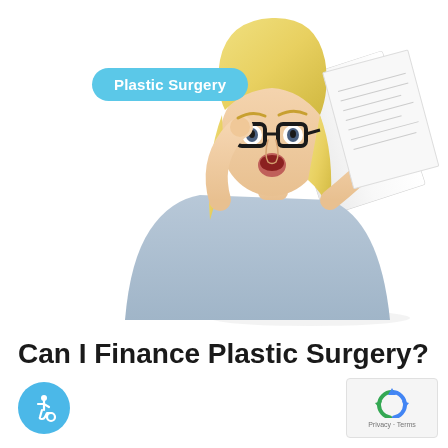[Figure (photo): Blonde woman in light blue t-shirt looking surprised at a paper/document she holds up, pulling down her glasses with the other hand. White background.]
Plastic Surgery
Can I Finance Plastic Surgery?
[Figure (illustration): Blue circular accessibility icon with wheelchair symbol in white]
[Figure (logo): Google reCAPTCHA badge with Privacy and Terms text]